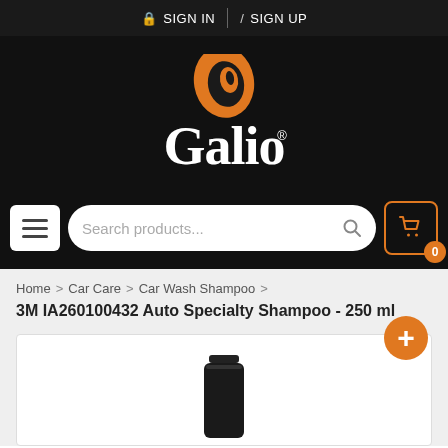🔒 SIGN IN  /  SIGN UP
[Figure (logo): Galio brand logo — white 'Galio' wordmark with orange oval abstract mark above on black background]
[Figure (screenshot): Website navigation bar with hamburger menu button, search products input, and shopping cart icon with 0 badge]
Home > Car Care > Car Wash Shampoo > 3M IA260100432 Auto Specialty Shampoo - 250 ml
[Figure (photo): 3M IA260100432 Auto Specialty Shampoo 250ml product image, partial view showing dark bottle top. Orange plus button in top right corner.]